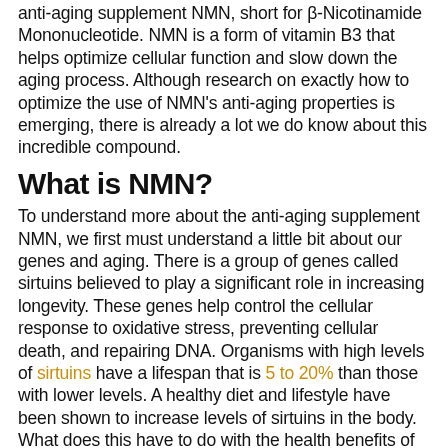anti-aging supplement NMN, short for β-Nicotinamide Mononucleotide. NMN is a form of vitamin B3 that helps optimize cellular function and slow down the aging process. Although research on exactly how to optimize the use of NMN's anti-aging properties is emerging, there is already a lot we do know about this incredible compound.
What is NMN?
To understand more about the anti-aging supplement NMN, we first must understand a little bit about our genes and aging. There is a group of genes called sirtuins believed to play a significant role in increasing longevity. These genes help control the cellular response to oxidative stress, preventing cellular death, and repairing DNA. Organisms with high levels of sirtuins have a lifespan that is 5 to 20% than those with lower levels. A healthy diet and lifestyle have been shown to increase levels of sirtuins in the body.
What does this have to do with the health benefits of NMN? Well, NMN is one of the few compounds that can trigger the increase of sirtuins. The active compound in this incredible